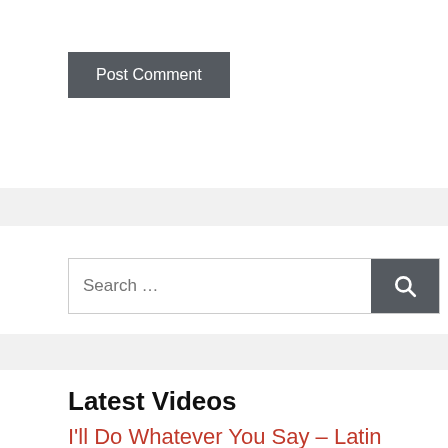Post Comment
Search ...
Latest Videos
I'll Do Whatever You Say – Latin Leche
Under The Table Suck – Brother Crush
Alone Time With Boys At Camp